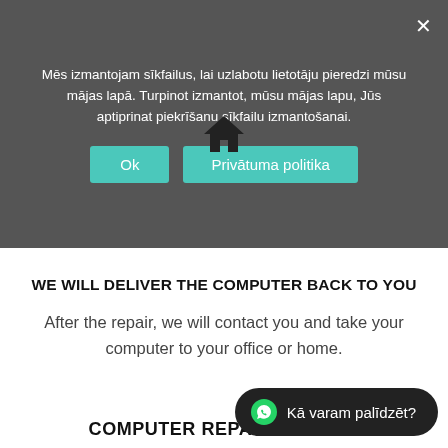Mēs izmantojam sīkfailus, lai uzlabotu lietotāju pieredzi mūsu mājas lapā. Turpinot izmantot, mūsu mājas lapu, Jūs aptiprinat piekrīšanu sīkfailu izmantošanai.
Ok
Privātuma politika
WE WILL DELIVER THE COMPUTER BACK TO YOU
After the repair, we will contact you and take your computer to your office or home.
COMPUTER REPAIR SERVICE
Tablet and Computer Service IT KATRAM is a computer service maintenance and repair of desktops, laptops,
Kā varam palīdzēt?